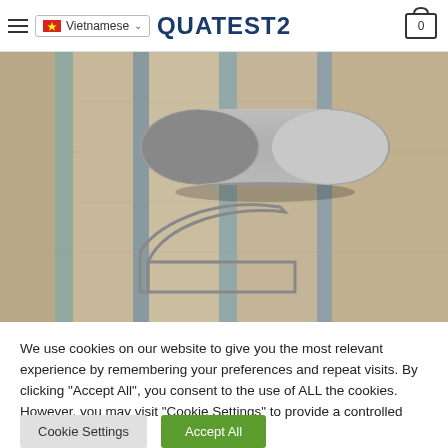QUATEST2
[Figure (photo): A cylindrical bolster pillow in grey fabric resting on a striped beige/grey rug, with a metal wire rug anchor visible in the foreground.]
We use cookies on our website to give you the most relevant experience by remembering your preferences and repeat visits. By clicking "Accept All", you consent to the use of ALL the cookies. However, you may visit "Cookie Settings" to provide a controlled consent.
Cookie Settings   Accept All